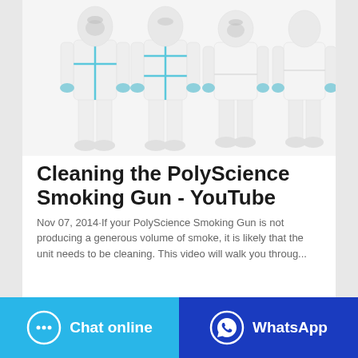[Figure (photo): Four people wearing full white protective hazmat/coverall suits with blue seam tape and blue gloves, shown from front and back views against a white background.]
Cleaning the PolyScience Smoking Gun - YouTube
Nov 07, 2014·If your PolyScience Smoking Gun is not producing a generous volume of smoke, it is likely that the unit needs to be cleaning. This video will walk you throug...
Chat online
WhatsApp